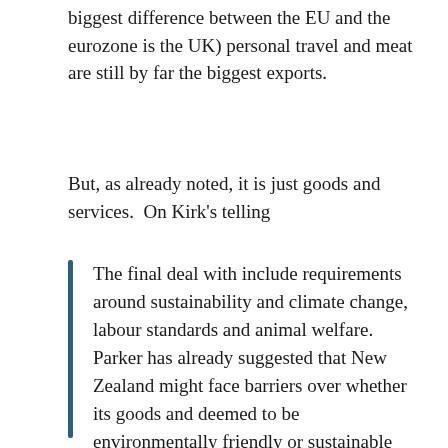biggest difference between the EU and the eurozone is the UK) personal travel and meat are still by far the biggest exports.
But, as already noted, it is just goods and services.  On Kirk's telling
The final deal with include requirements around sustainability and climate change, labour standards and animal welfare.  Parker has already suggested that New Zealand might face barriers over whether its goods and deemed to be environmentally friendly or sustainable enough.